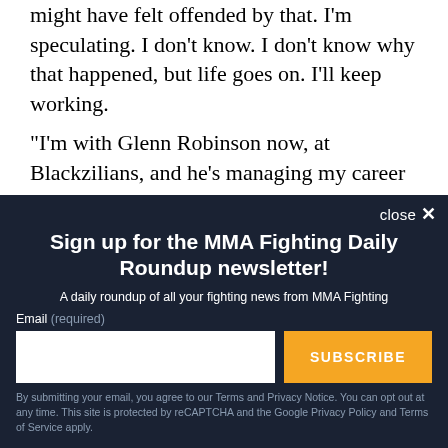might have felt offended by that. I'm speculating. I don't know. I don't know why that happened, but life goes on. I'll keep working.
"I'm with Glenn Robinson now, at Blackzilians, and he's managing my career now. We'll see. That's the answer we got from the UFC. They can re-sign me at any moment, but said they are not interested and I'm free."
close ×
Sign up for the MMA Fighting Daily Roundup newsletter!
A daily roundup of all your fighting news from MMA Fighting
Email (required)
SUBSCRIBE
By submitting your email, you agree to our Terms and Privacy Notice. You can opt out at any time. This site is protected by reCAPTCHA and the Google Privacy Policy and Terms of Service apply.